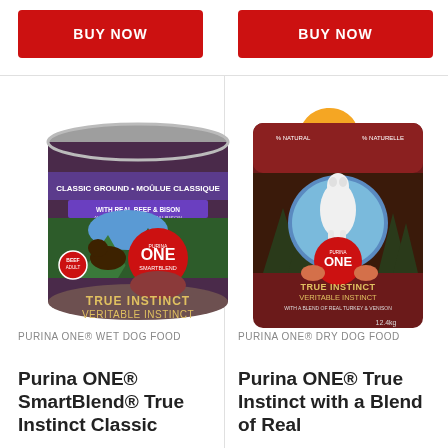[Figure (other): Red BUY NOW button on the left]
[Figure (other): Red BUY NOW button on the right]
[Figure (other): Orange 'New' badge sticker]
[Figure (photo): Purina ONE SmartBlend True Instinct Classic Ground With Real Beef & Bison wet dog food can]
[Figure (photo): Purina ONE True Instinct dry dog food bag with a blend of real turkey]
PURINA ONE® WET DOG FOOD
PURINA ONE® DRY DOG FOOD
Purina ONE® SmartBlend® True Instinct Classic
Purina ONE® True Instinct with a Blend of Real Turkey & Venison